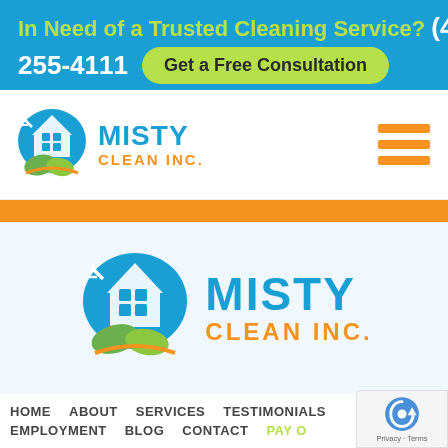In Need of a Trusted Cleaning Service? (410) 255-4111  Get a Free Consultation
[Figure (logo): Misty Clean Inc. logo - small version with house/window icon and green leaves, blue and orange text]
[Figure (logo): Hamburger menu icon - three orange horizontal bars]
[Figure (logo): Misty Clean Inc. logo - large version with house/window icon and green leaves, blue and orange text]
HOME  ABOUT  SERVICES  TESTIMONIALS  EMPLOYMENT  BLOG  CONTACT  PAY O...
[Figure (logo): Google reCAPTCHA badge with Privacy and Terms links]